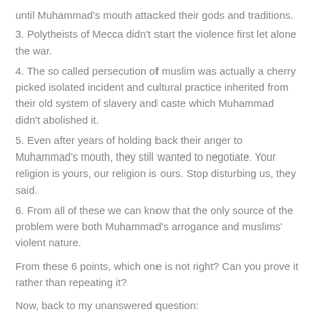until Muhammad's mouth attacked their gods and traditions.
3. Polytheists of Mecca didn't start the violence first let alone the war.
4. The so called persecution of muslim was actually a cherry picked isolated incident and cultural practice inherited from their old system of slavery and caste which Muhammad didn't abolished it.
5. Even after years of holding back their anger to Muhammad's mouth, they still wanted to negotiate. Your religion is yours, our religion is ours. Stop disturbing us, they said.
6. From all of these we can know that the only source of the problem were both Muhammad's arrogance and muslims' violent nature.
From these 6 points, which one is not right? Can you prove it rather than repeating it?
Now, back to my unanswered question:
Let's enter a dream realm and pretend that polytheist really